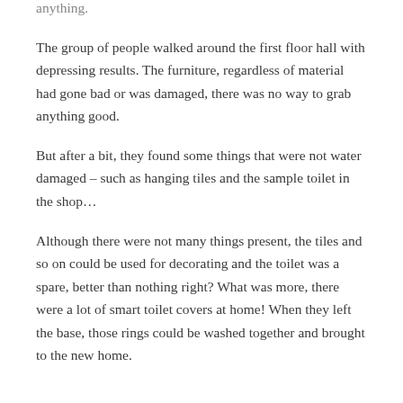anything.
The group of people walked around the first floor hall with depressing results. The furniture, regardless of material had gone bad or was damaged, there was no way to grab anything good.
But after a bit, they found some things that were not water damaged – such as hanging tiles and the sample toilet in the shop…
Although there were not many things present, the tiles and so on could be used for decorating and the toilet was a spare, better than nothing right? What was more, there were a lot of smart toilet covers at home! When they left the base, those rings could be washed together and brought to the new home.